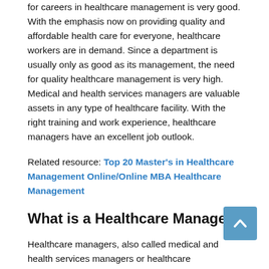for careers in healthcare management is very good. With the emphasis now on providing quality and affordable health care for everyone, healthcare workers are in demand. Since a department is usually only as good as its management, the need for quality healthcare management is very high. Medical and health services managers are valuable assets in any type of healthcare facility. With the right training and work experience, healthcare managers have an excellent job outlook.
Related resource: Top 20 Master's in Healthcare Management Online/Online MBA Healthcare Management
What is a Healthcare Manager
Healthcare managers, also called medical and health services managers or healthcare administrators, are the professionals who oversee a hospital, clinic or similar medical facility. They direct, plan and coordinate health and medical services. Healthcare managers may manage one department or the